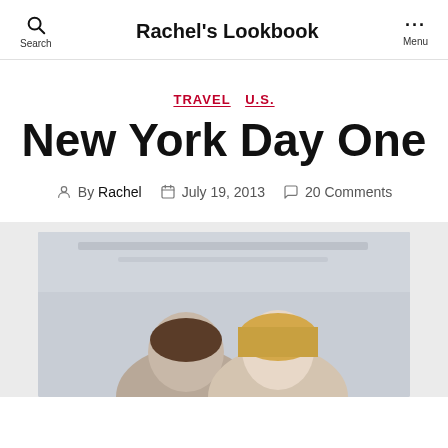Rachel's Lookbook
TRAVEL  U.S.
New York Day One
By Rachel  July 19, 2013  20 Comments
[Figure (photo): Two people photographed together, partially visible, indoor setting with ceiling visible in background]